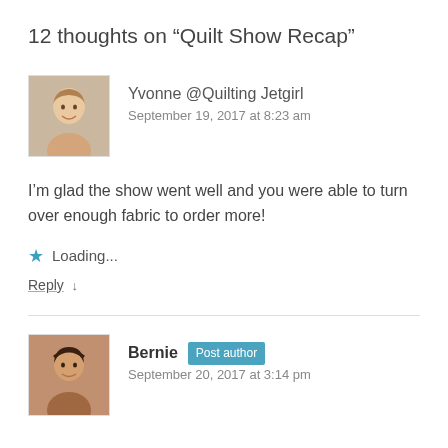12 thoughts on “Quilt Show Recap”
[Figure (photo): Avatar photo of Yvonne, a woman with light skin and hair pulled back, smiling]
Yvonne @Quilting Jetgirl
September 19, 2017 at 8:23 am
I’m glad the show went well and you were able to turn over enough fabric to order more!
★ Loading...
Reply ↓
[Figure (photo): Avatar photo of Bernie, a person with short dark hair and warm skin tone]
Bernie [Post author]
September 20, 2017 at 3:14 pm